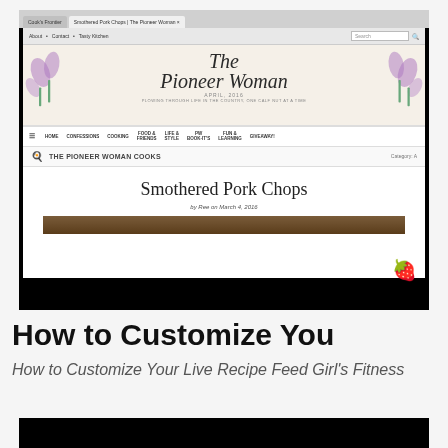[Figure (screenshot): Screenshot of The Pioneer Woman website showing 'Smothered Pork Chops' recipe page, with browser chrome, site navigation, header with floral decorations, and recipe title area]
How to Customize You
How to Customize Your Live Recipe Feed Girl's Fitness
[Figure (screenshot): Bottom portion of another screenshot, showing black background (partially visible)]